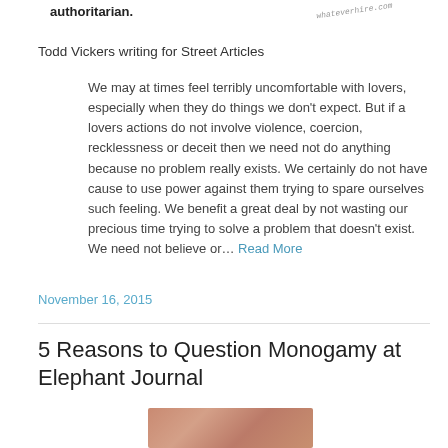authoritarian.
Todd Vickers writing for Street Articles
We may at times feel terribly uncomfortable with lovers, especially when they do things we don't expect. But if a lovers actions do not involve violence, coercion, recklessness or deceit then we need not do anything because no problem really exists. We certainly do not have cause to use power against them trying to spare ourselves such feeling. We benefit a great deal by not wasting our precious time trying to solve a problem that doesn't exist. We need not believe or… Read More
November 16, 2015
5 Reasons to Question Monogamy at Elephant Journal
[Figure (photo): Thumbnail photo with reddish-pink skin-tone texture]